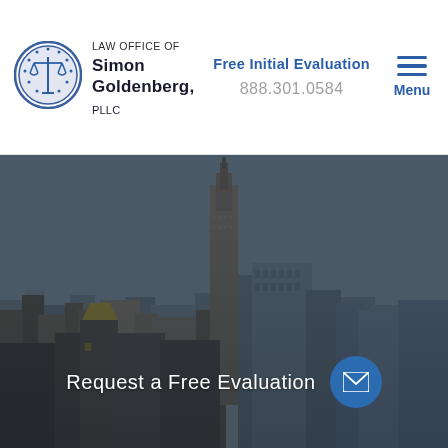[Figure (logo): Law Office of Simon Goldenberg PLLC logo — circular seal with scales of justice icon]
LAW OFFICE OF Simon Goldenberg, PLLC
Free Initial Evaluation
888.301.0584
Menu
[Figure (photo): Aerial photograph of New York City skyline featuring the Empire State Building, with a dark overlay tint]
Request a Free Evaluation